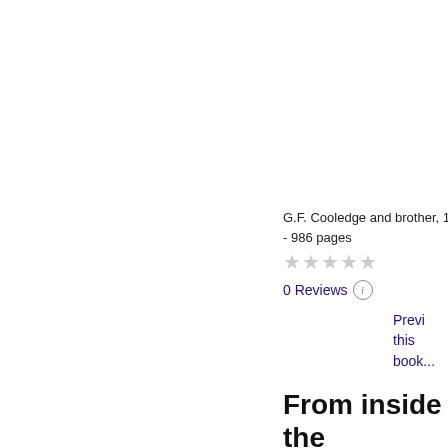[Figure (illustration): Book cover thumbnail for Shakespeare, white/blank cover with a page curl effect at the bottom right corner]
Shakespeare
G.F. Cooledge and brother, 18...
- 986 pages
★★★★★ (empty stars, 0 rating)
0 Reviews ⓘ
Preview this book
From inside the book